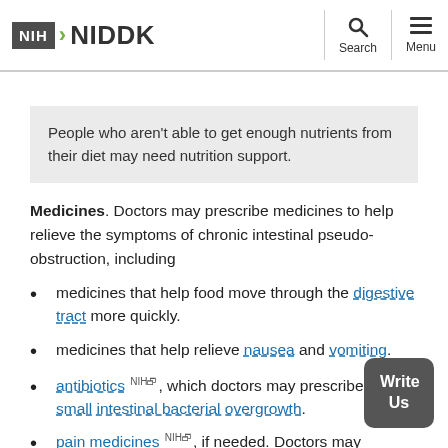NIH NIDDK — Search — Menu
People who aren't able to get enough nutrients from their diet may need nutrition support.
Medicines. Doctors may prescribe medicines to help relieve the symptoms of chronic intestinal pseudo-obstruction, including
medicines that help food move through the digestive tract more quickly.
medicines that help relieve nausea and vomiting.
antibiotics NIH, which doctors may prescribe to treat small intestinal bacterial overgrowth.
pain medicines NIH, if needed. Doctors may recommend avoiding pain medicines, such as opioids, that slow down food moving through the digestive